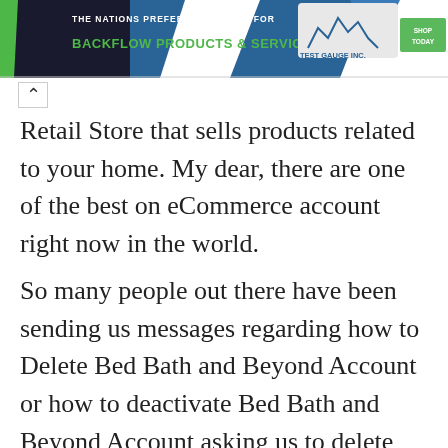[Figure (screenshot): Website banner for Test Gauge Inc. with teal/dark left shape, blue chevron shape, logo, green SHOP TODAY button, white text 'THE NATIONS PREFERRED SOURCE FOR' and green text 'BACKFLOW PRODUCTS & SERVICES']
Retail Store that sells products related to your home. My dear, there are one of the best on eCommerce account right now in the world.
So many people out there have been sending us messages regarding how to Delete Bed Bath and Beyond Account or how to deactivate Bed Bath and Beyond Account asking us to delete their account.